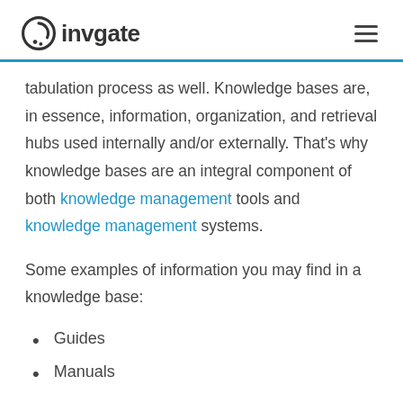invgate
tabulation process as well. Knowledge bases are, in essence, information, organization, and retrieval hubs used internally and/or externally. That’s why knowledge bases are an integral component of both knowledge management tools and knowledge management systems.
Some examples of information you may find in a knowledge base:
Guides
Manuals